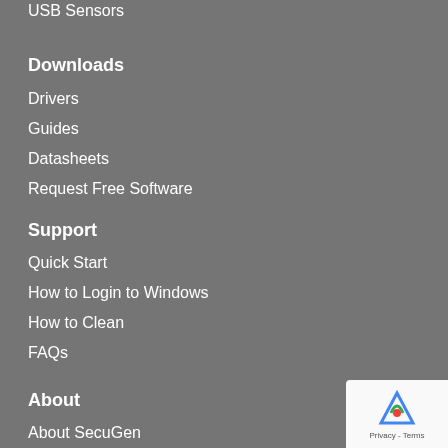USB Sensors
Downloads
Drivers
Guides
Datasheets
Request Free Software
Support
Quick Start
How to Login to Windows
How to Clean
FAQs
About
About SecuGen
News/Press
Contact
Purchase